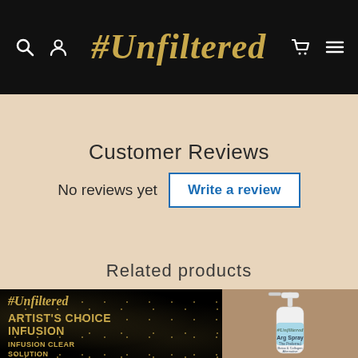#Unfiltered
Customer Reviews
No reviews yet  Write a review
Related products
[Figure (photo): Left product card: black background with gold sparkles, #Unfiltered logo, ARTIST'S CHOICE INFUSION, INFUSION CLEAR SOLUTION]
[Figure (photo): Right product card: tan/brown background with Unfiltered Arg Spray bottle (white spray bottle with light blue label)]